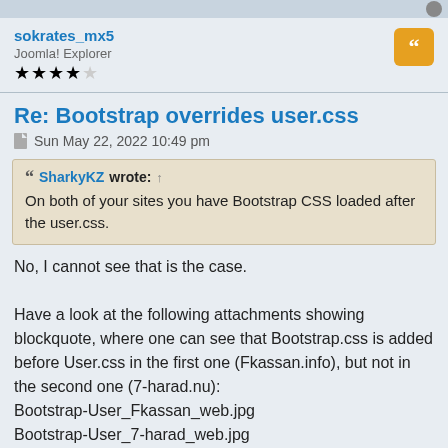sokrates_mx5
Joomla! Explorer
★★★★☆
Re: Bootstrap overrides user.css
Sun May 22, 2022 10:49 pm
SharkyKZ wrote: ↑
On both of your sites you have Bootstrap CSS loaded after the user.css.
No, I cannot see that is the case.
Have a look at the following attachments showing blockquote, where one can see that Bootstrap.css is added before User.css in the first one (Fkassan.info), but not in the second one (7-harad.nu):
Bootstrap-User_Fkassan_web.jpg
Bootstrap-User_7-harad_web.jpg
I do not understand why Bootstrap.css is added to
Fkassan.info.